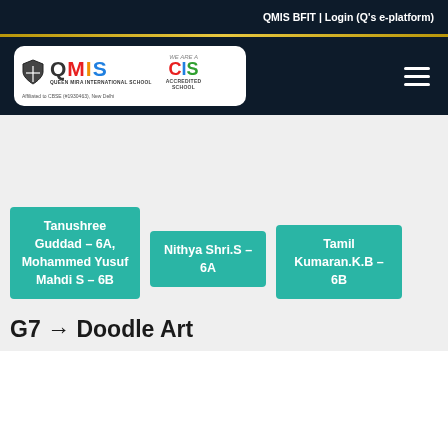QMIS BFIT | Login (Q's e-platform)
[Figure (logo): QMIS (Queen Mira International School) logo with CIS Accredited School badge. Affiliated to CBSE (#1930463), New Delhi]
Tanushree Guddad – 6A, Mohammed Yusuf Mahdi S – 6B
Nithya Shri.S – 6A
Tamil Kumaran.K.B – 6B
G7 → Doodle Art